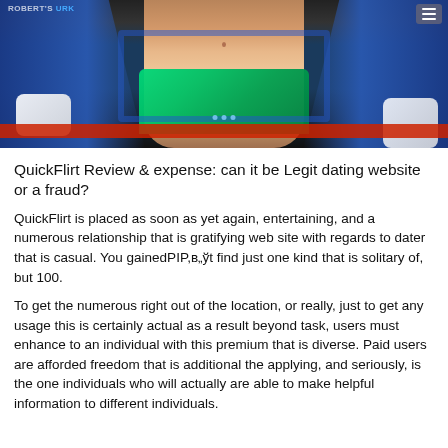[Figure (photo): A close-up photo of a female wrestler in blue and green sparkling costume with exposed midriff, standing in a wrestling ring with red ropes visible at the bottom.]
QuickFlirt Review & expense: can it be Legit dating website or a fraud?
QuickFlirt is placed as soon as yet again, entertaining, and a numerous relationship that is gratifying web site with regards to dater that is casual. You gainedPIP,в„ўt find just one kind that is solitary of, but 100.
To get the numerous right out of the location, or really, just to get any usage this is certainly actual as a result beyond task, users must enhance to an individual with this premium that is diverse. Paid users are afforded freedom that is additional the applying, and seriously, is the one individuals who will actually are able to make helpful information to different individuals.